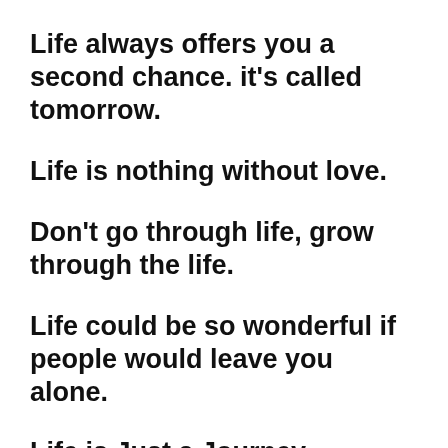Life always offers you a second chance. it's called tomorrow.
Life is nothing without love.
Don't go through life, grow through the life.
Life could be so wonderful if people would leave you alone.
Life is Just a Journey.